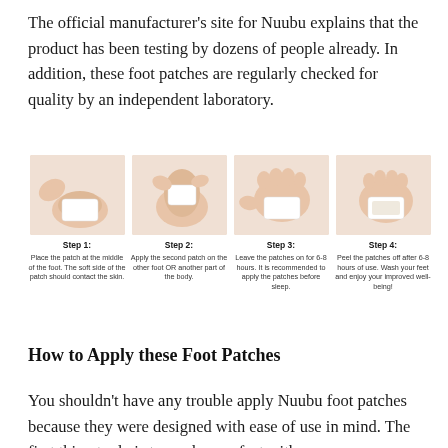The official manufacturer's site for Nuubu explains that the product has been testing by dozens of people already. In addition, these foot patches are regularly checked for quality by an independent laboratory.
[Figure (infographic): Four-step instructional diagram showing how to apply Nuubu foot patches. Step 1: Place the patch at the middle of the foot. The soft side of the patch should contact the skin. Step 2: Apply the second patch on the other foot OR another part of the body. Step 3: Leave the patches on for 6-8 hours. It is recommended to apply the patches before sleep. Step 4: Peel the patches off after 6-8 hours of use. Wash your feet and enjoy your improved well-being!]
How to Apply these Foot Patches
You shouldn't have any trouble apply Nuubu foot patches because they were designed with ease of use in mind. The first thing to do is to wash your feet with